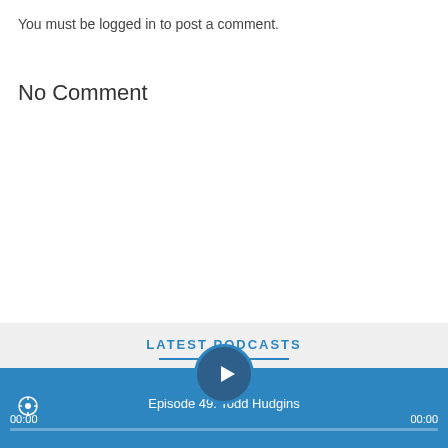You must be logged in to post a comment.
No Comment
LATEST PODCASTS
[Figure (screenshot): Podcast player card showing 'CW 119: Kathryn Wyatt' with a dark circular play button on the left]
[Figure (screenshot): Blue audio player bar at bottom showing 'Episode 49: Todd Hudgins' with play button, time displays 00:00 on both sides, and progress bar]